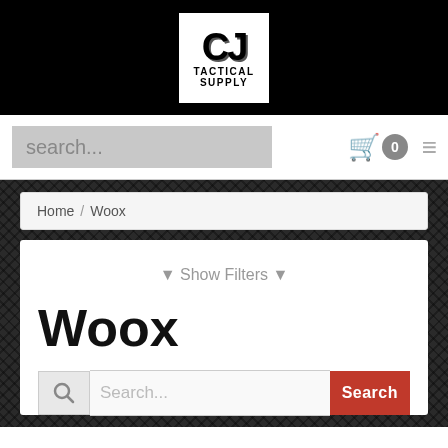[Figure (logo): CJ Tactical Supply logo — black and white distressed text logo with large 'CJ' letters above 'TACTICAL SUPPLY' text]
search...
0
Home / Woox
▼ Show Filters ▼
Woox
Search...
Search